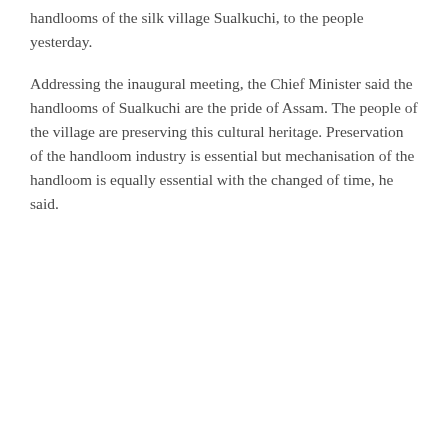handlooms of the silk village Sualkuchi, to the people yesterday.
Addressing the inaugural meeting, the Chief Minister said the handlooms of Sualkuchi are the pride of Assam. The people of the village are preserving this cultural heritage. Preservation of the handloom industry is essential but mechanisation of the handloom is equally essential with the changed of time, he said.